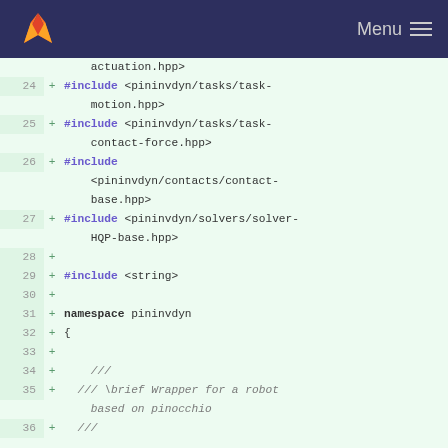Menu
Code diff viewer showing lines 24-36 of a C++ header file with #include directives and namespace pininvdyn declaration